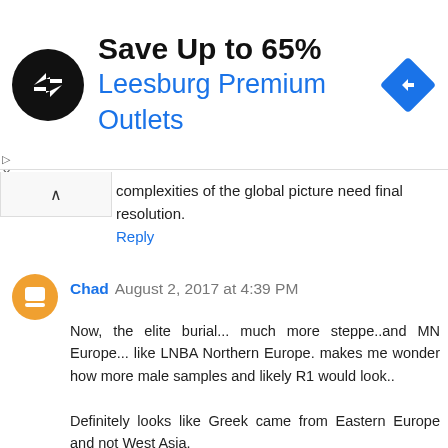[Figure (infographic): Advertisement banner: black circle logo with two overlapping arrows, text 'Save Up to 65%' in bold black, 'Leesburg Premium Outlets' in blue, and a blue diamond navigation icon on the right.]
complexities of the global picture need final resolution.
Reply
Chad August 2, 2017 at 4:39 PM
Now, the elite burial... much more steppe..and MN Europe... like LNBA Northern Europe. makes me wonder how more male samples and likely R1 would look..
Definitely looks like Greek came from Eastern Europe and not West Asia.
Crete_Armenoi
Greece_N
Anatolia_BA
Steppe_MLBA